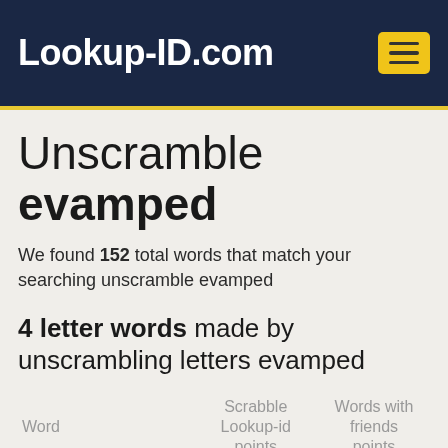Lookup-ID.com
Unscramble evamped
We found 152 total words that match your searching unscramble evamped
4 letter words made by unscrambling letters evamped
| Word | Scrabble Lookup-id points | Words with friends points |
| --- | --- | --- |